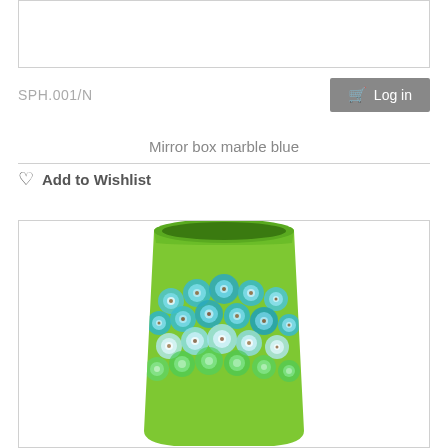[Figure (other): Empty white product image placeholder box with light grey border]
SPH.001/N
Log in
Mirror box marble blue
Add to Wishlist
[Figure (photo): A green ceramic mug/cup decorated with blue and teal floral millefiori pattern on the lower half, against a white background]